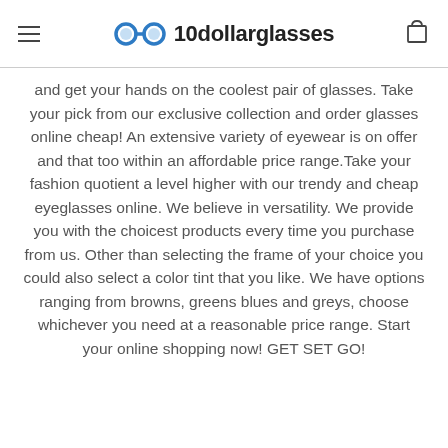10dollarglasses
and get your hands on the coolest pair of glasses. Take your pick from our exclusive collection and order glasses online cheap! An extensive variety of eyewear is on offer and that too within an affordable price range.Take your fashion quotient a level higher with our trendy and cheap eyeglasses online. We believe in versatility. We provide you with the choicest products every time you purchase from us. Other than selecting the frame of your choice you could also select a color tint that you like. We have options ranging from browns, greens blues and greys, choose whichever you need at a reasonable price range. Start your online shopping now! GET SET GO!